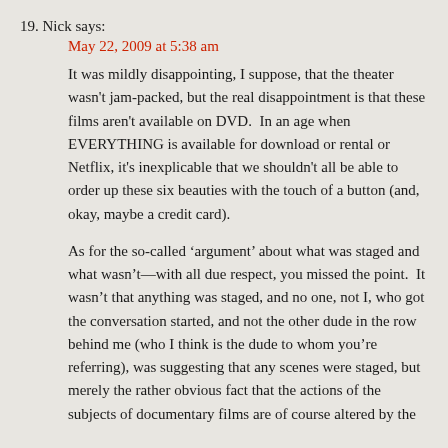19. Nick says:
May 22, 2009 at 5:38 am
It was mildly disappointing, I suppose, that the theater wasn't jam-packed, but the real disappointment is that these films aren't available on DVD.  In an age when EVERYTHING is available for download or rental or Netflix, it's inexplicable that we shouldn't all be able to order up these six beauties with the touch of a button (and, okay, maybe a credit card).
As for the so-called ‘argument’ about what was staged and what wasn’t—with all due respect, you missed the point.  It wasn’t that anything was staged, and no one, not I, who got the conversation started, and not the other dude in the row behind me (who I think is the dude to whom you’re referring), was suggesting that any scenes were staged, but merely the rather obvious fact that the actions of the subjects of documentary films are of course altered by the